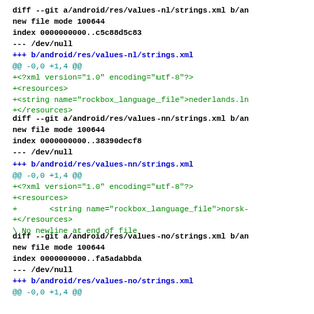diff --git a/android/res/values-nl/strings.xml b/android/res/values-nl/strings.xml
new file mode 100644
index 0000000000..c5c88d5c83
--- /dev/null
+++ b/android/res/values-nl/strings.xml
@@ -0,0 +1,4 @@
+<?xml version="1.0" encoding="utf-8"?>
+<resources>
+<string name="rockbox_language_file">nederlands.ln
+</resources>
diff --git a/android/res/values-nn/strings.xml b/android/res/values-nn/strings.xml
new file mode 100644
index 0000000000..38390decf8
--- /dev/null
+++ b/android/res/values-nn/strings.xml
@@ -0,0 +1,4 @@
+<?xml version="1.0" encoding="utf-8"?>
+<resources>
+        <string name="rockbox_language_file">norsk-
+</resources>
\ No newline at end of file
diff --git a/android/res/values-no/strings.xml b/android/res/values-no/strings.xml
new file mode 100644
index 0000000000..fa5adabbda
--- /dev/null
+++ b/android/res/values-no/strings.xml
@@ -0,0 +1,4 @@